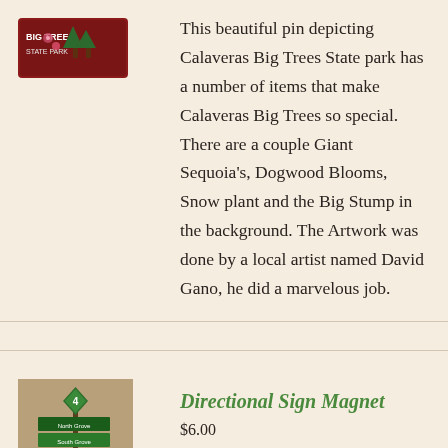[Figure (photo): Partial view of a pin/badge for Calaveras Big Trees State Park, partially cut off at top]
This beautiful pin depicting Calaveras Big Trees State park has a number of items that make Calaveras Big Trees so special. There are a couple Giant Sequoia's, Dogwood Blooms, Snow plant and the Big Stump in the background. The Artwork was done by a local artist named David Gano, he did a marvelous job.
[Figure (photo): Product image of a Directional Sign Magnet showing a trail sign post with a green number 4 diamond marker and multiple colored directional sign boards listing trail names on a tan/brown background]
Directional Sign Magnet
$6.00